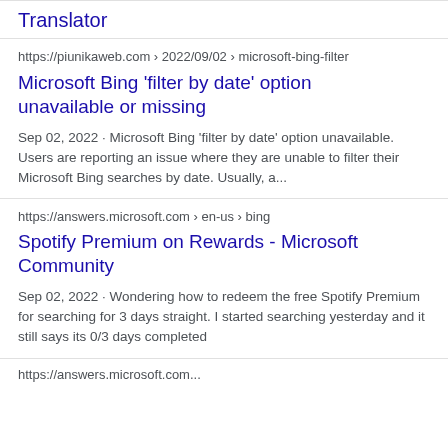Translator
https://piunikaweb.com › 2022/09/02 › microsoft-bing-filter
Microsoft Bing 'filter by date' option unavailable or missing
Sep 02, 2022 · Microsoft Bing 'filter by date' option unavailable. Users are reporting an issue where they are unable to filter their Microsoft Bing searches by date. Usually, a...
https://answers.microsoft.com › en-us › bing
Spotify Premium on Rewards - Microsoft Community
Sep 02, 2022 · Wondering how to redeem the free Spotify Premium for searching for 3 days straight. I started searching yesterday and it still says its 0/3 days completed
https://answers.microsoft.com...